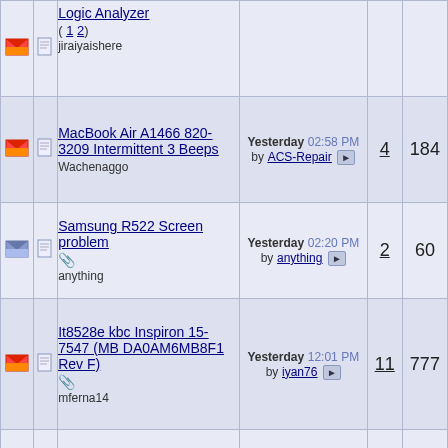|  |  | Topic | Last Post | Replies | Views |
| --- | --- | --- | --- | --- | --- |
| [env-red] | [doc] | Logic Analyzer (1 2)
jiraiyaishere |  |  |  |
| [env-red] | [doc] | MacBook Air A1466 820-3209 Intermittent 3 Beeps
Wachenaggo | Yesterday 02:58 PM by ACS-Repair | 4 | 184 |
| [env-blue] | [doc] | Samsung R522 Screen problem
anything | Yesterday 02:20 PM by anything | 2 | 60 |
| [env-red] | [doc] | It8528e kbc Inspiron 15-7547 (MB DA0AM6MB8F1 Rev F)
mferna14 | Yesterday 12:01 PM by iyan76 | 11 | 777 |
| [env-red] | [doc] | TPM module with Bitlocker on an SSD
sikocan | Yesterday 11:15 AM by ktmmotocross | 5 | 181 |
| [env-red] | [doc] | problem lenovo v560 Unauthorized Wireless card is plugged in.Power off and remove it
jano101 | Yesterday 09:16 AM by jano101 | 4 | 168 |